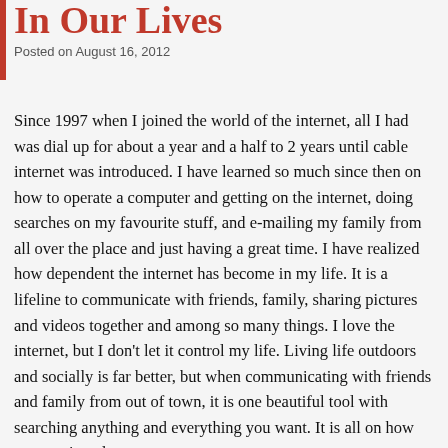In Our Lives
Posted on August 16, 2012
Since 1997 when I joined the world of the internet, all I had was dial up for about a year and a half to 2 years until cable internet was introduced. I have learned so much since then on how to operate a computer and getting on the internet, doing searches on my favourite stuff, and e-mailing my family from all over the place and just having a great time. I have realized how dependent the internet has become in my life. It is a lifeline to communicate with friends, family, sharing pictures and videos together and among so many things. I love the internet, but I don't let it control my life. Living life outdoors and socially is far better, but when communicating with friends and family from out of town, it is one beautiful tool with searching anything and everything you want. It is all on how you use it and